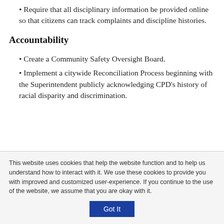• Require that all disciplinary information be provided online so that citizens can track complaints and discipline histories.
Accountability
• Create a Community Safety Oversight Board.
• Implement a citywide Reconciliation Process beginning with the Superintendent publicly acknowledging CPD's history of racial disparity and discrimination.
This website uses cookies that help the website function and to help us understand how to interact with it. We use these cookies to provide you with improved and customized user-experience. If you continue to the use of the website, we assume that you are okay with it.